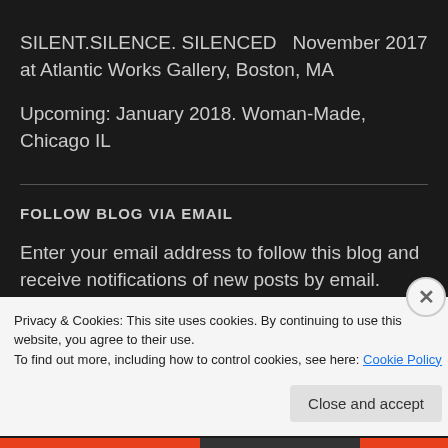SILENT.SILENCE. SILENCED  November 2017 at Atlantic Works Gallery, Boston, MA
Upcoming: January 2018. Woman-Made, Chicago IL
FOLLOW BLOG VIA EMAIL
Enter your email address to follow this blog and receive notifications of new posts by email.
Privacy & Cookies: This site uses cookies. By continuing to use this website, you agree to their use. To find out more, including how to control cookies, see here: Cookie Policy
Close and accept